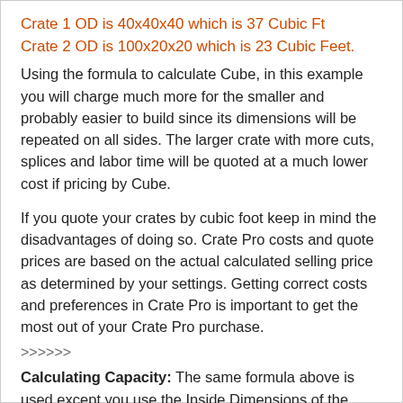Crate 1 OD is 40x40x40 which is 37 Cubic Ft
Crate 2 OD is 100x20x20 which is 23 Cubic Feet.
Using the formula to calculate Cube, in this example you will charge much more for the smaller and probably easier to build since its dimensions will be repeated on all sides. The larger crate with more cuts, splices and labor time will be quoted at a much lower cost if pricing by Cube.
If you quote your crates by cubic foot keep in mind the disadvantages of doing so. Crate Pro costs and quote prices are based on the actual calculated selling price as determined by your settings. Getting correct costs and preferences in Crate Pro is important to get the most out of your Crate Pro purchase.
>>>>>>
Calculating Capacity: The same formula above is used except you use the Inside Dimensions of the crate instead of Outside dimensions.
It should be kept in mind that this is the inside capacity